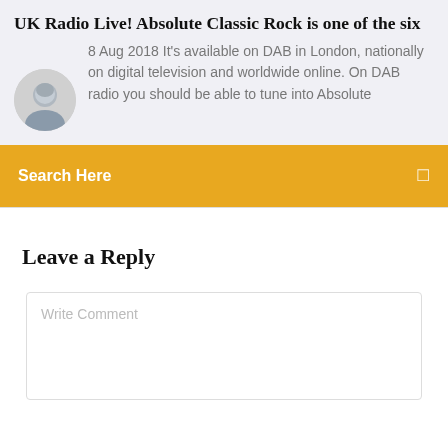UK Radio Live! Absolute Classic Rock is one of the six
8 Aug 2018 It's available on DAB in London, nationally on digital television and worldwide online. On DAB radio you should be able to tune into Absolute
Search Here
Leave a Reply
Write Comment